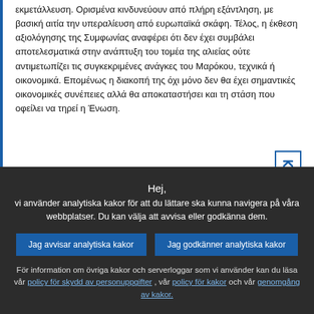εκμετάλλευση. Ορισμένα κινδυνεύουν από πλήρη εξάντληση, με βασική αιτία την υπεραλίευση από ευρωπαϊκά σκάφη. Τέλος, η έκθεση αξιολόγησης της Συμφωνίας αναφέρει ότι δεν έχει συμβάλει αποτελεσματικά στην ανάπτυξη του τομέα της αλιείας ούτε αντιμετωπίζει τις συγκεκριμένες ανάγκες του Μαρόκου, τεχνικά ή οικονομικά. Επομένως η διακοπή της όχι μόνο δεν θα έχει σημαντικές οικονομικές συνέπειες αλλά θα αποκαταστήσει και τη στάση που οφείλει να τηρεί η Ένωση.
[Figure (photo): Portrait photo of Corina Crețu, a woman with blonde hair and glasses]
Corina Crețu (S&D), în scris. – Am votat pentru Recomandarea referitoare la proiectul de decizie a Consiliului privind încheierea unui protocol între Uniunea Europeană şi Regatul Maroc de stabilire a
Hej,
vi använder analytiska kakor för att du lättare ska kunna navigera på våra webbplatser. Du kan välja att avvisa eller godkänna dem.
Jag avvisar analytiska kakor
Jag godkänner analytiska kakor
För information om övriga kakor och serverloggar som vi använder kan du läsa vår policy för skydd av personuppgifter , vår policy för kakor och vår genomgång av kakor.